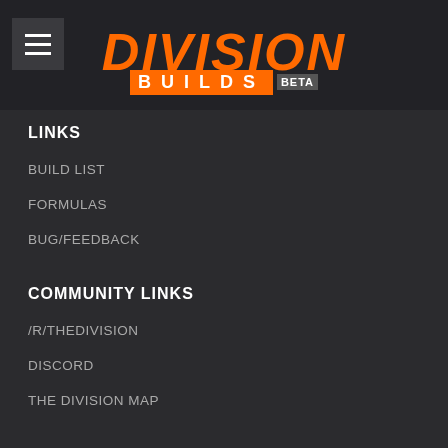DIVISION BUILDS BETA
LINKS
BUILD LIST
FORMULAS
BUG/FEEDBACK
COMMUNITY LINKS
/R/THEDIVISION
DISCORD
THE DIVISION MAP
DATABASE
COMMENDATION PATCHES
MASKS